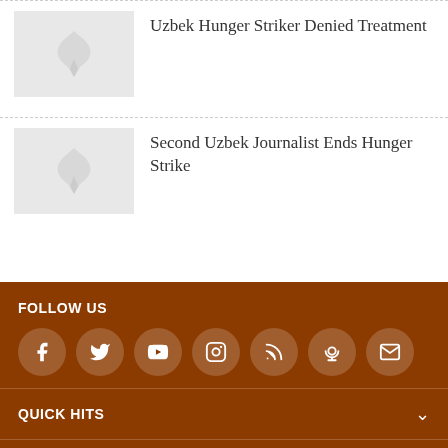[Figure (illustration): Placeholder thumbnail image with grey background and faint logo watermark]
Uzbek Hunger Striker Denied Treatment
[Figure (illustration): Placeholder thumbnail image with grey background and faint logo watermark]
Second Uzbek Journalist Ends Hunger Strike
FOLLOW US
[Figure (infographic): Social media icons: Facebook, Twitter, YouTube, Instagram, RSS, Podcast, Email]
QUICK HITS
BROWSE